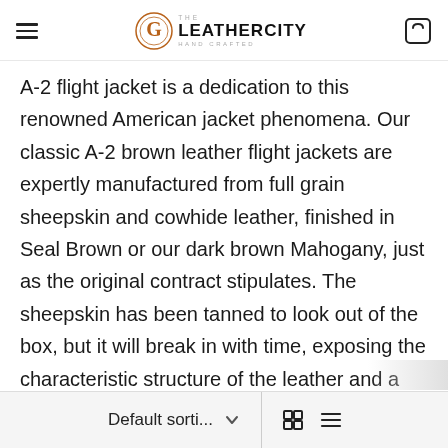The Leather City
A-2 flight jacket is a dedication to this renowned American jacket phenomena. Our classic A-2 brown leather flight jackets are expertly manufactured from full grain sheepskin and cowhide leather, finished in Seal Brown or our dark brown Mahogany, just as the original contract stipulates. The sheepskin has been tanned to look out of the box, but it will break in with time, exposing the characteristic structure of the leather and a classic weathered patina. We've also gone to great lengths to ensure that this A-2 jacket fits true to size for today's body types and builds. All of these elements combine to make this the ideal everyday jacket, while maintaining the classic A-2 shape and appearance. Our WWII A-2 Na
Default sorti...